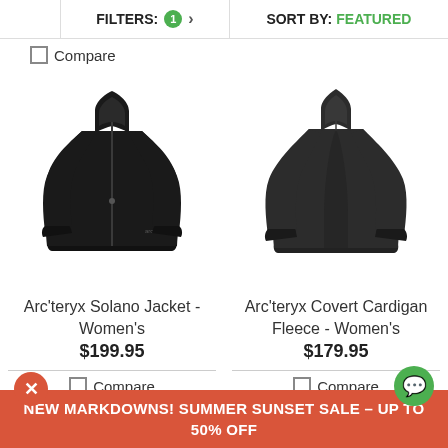FILTERS: 1 > SORT BY: FEATURED
Compare
[Figure (photo): Arc'teryx Solano Jacket Women's - black zip-up jacket on white background]
Arc'teryx Solano Jacket - Women's $199.95
Compare
[Figure (photo): Arc'teryx Covert Cardigan Fleece Women's - dark gray fleece jacket on white background]
Arc'teryx Covert Cardigan Fleece - Women's $179.95
Compare
NEW MARKDOWNS! SUMMER SUNSET SALE – UP TO 50% OFF